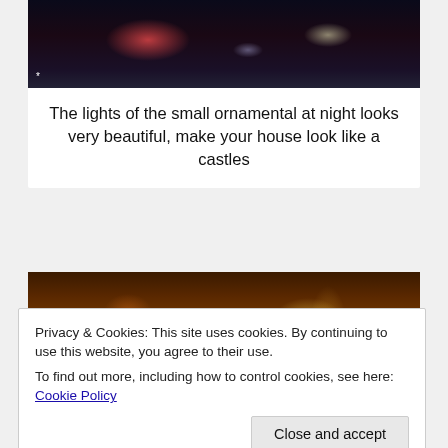[Figure (photo): Christmas lights display at night on a street, with colorful decorations and illuminated ornaments]
The lights of the small ornamental at night looks very beautiful, make your house look like a castles
[Figure (photo): Cozy indoor Christmas scene with decorated fireplace, Christmas wreath, and large decorated Christmas tree with warm glowing lights]
Privacy & Cookies: This site uses cookies. By continuing to use this website, you agree to their use.
To find out more, including how to control cookies, see here: Cookie Policy
[Figure (photo): Partial view of a Christmas decoration scene with warm glowing lights]